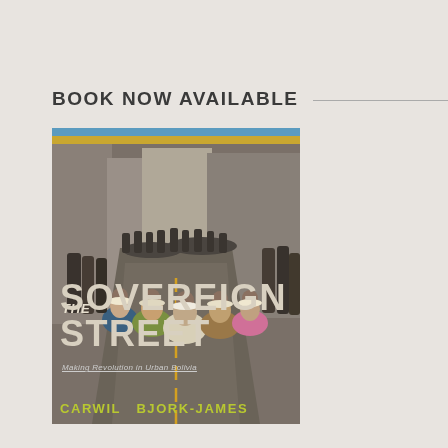BOOK NOW AVAILABLE
[Figure (photo): Book cover of 'The Sovereign Street: Making Revolution in Urban Bolivia' by Carwil Bjork-James. The cover shows a street scene in Bolivia with a crowd of people, including indigenous women in traditional dress seated on the pavement, with urban buildings in the background. Blue and yellow stripe bands appear at the top of the cover.]